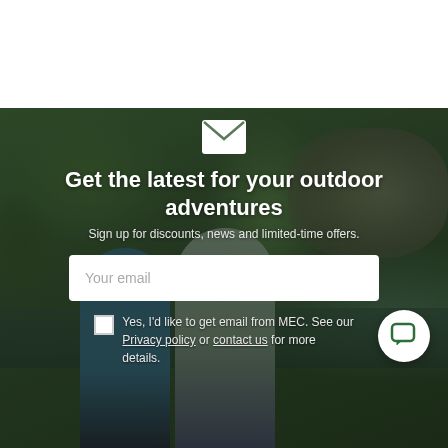[Figure (photo): Outdoor background scene with two people hiking/walking in a forest/rocky area with green trees and boulders. Dark overlay on image.]
Get the latest for your outdoor adventures
Sign up for discounts, news and limited-time offers.
Your email
Yes, I'd like to get email from MEC. See our Privacy policy or contact us for more details.